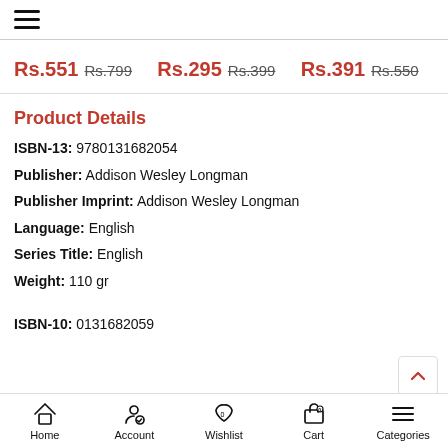[Figure (other): Hamburger menu icon (three horizontal lines)]
Rs.551  Rs.799    Rs.295  Rs.399    Rs.391  Rs.550
Product Details
ISBN-13: 9780131682054
Publisher: Addison Wesley Longman
Publisher Imprint: Addison Wesley Longman
Language: English
Series Title: English
Weight: 110 gr
ISBN-10: 0131682059
Home  Account  Wishlist  Cart  Categories